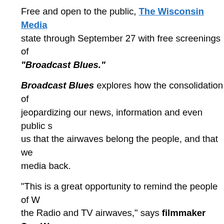Free and open to the public, The Wisconsin Media state through September 27 with free screenings of "Broadcast Blues."
Broadcast Blues explores how the consolidation of jeopardizing our news, information and even public s us that the airwaves belong the people, and that we media back.
"This is a great opportunity to remind the people of W the Radio and TV airwaves," says filmmaker Sue W stations receive licenses for the privilege to broadca exchange for their licenses, the law requires them to The question is, are the broadcasters serving the pu
Sue Wilson, the film's director, will be on hand to su they believe their local media is serving local needs. media is not serving the public interest, Wilson will e broadcasters with the goal of improving the quality o
The 2011 Wisconsin Media Reform Tour kicked of on the screening at the Fighting Bob Fest. Th